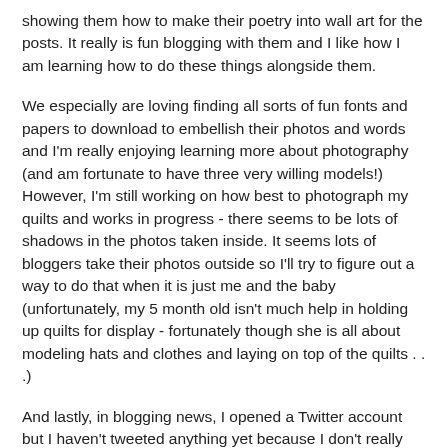showing them how to make their poetry into wall art for the posts.  It really is fun blogging with them and I like how I am learning how to do these things alongside them.
We especially are loving finding all sorts of fun fonts and papers to download to embellish their photos and words and I'm really enjoying learning more about photography (and am fortunate to have three very willing models!)  However, I'm still working on how best to photograph my quilts and works in progress - there seems to be lots of shadows in the photos taken inside.  It seems lots of bloggers take their photos outside so I'll try to figure out a way to do that when it is just me and the baby (unfortunately, my 5 month old isn't much help in holding up quilts for display - fortunately though she is all about modeling hats and clothes and laying on top of the quilts . . .)
And lastly, in blogging news, I opened a Twitter account but I haven't tweeted anything yet because I don't really know yet what to tweet.  I'm new to twitter so I'll have to check out some other blogger's feeds to see how people use it.  I also opened a Flickr account and posted a few photos of random